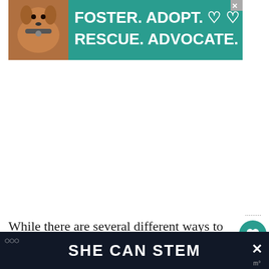[Figure (illustration): Advertisement banner with teal background showing a brown dog on the left and bold white text reading 'FOSTER. ADOPT. RESCUE. ADVOCATE.' with heart icons. Close button (X) in top right corner.]
While there are several different ways to eat healthy, most meal plans are similar in structure. Although they may have different types of food in
[Figure (other): SHE CAN STEM promotional bottom bar with dark background and white bold text. Close X button on right side.]